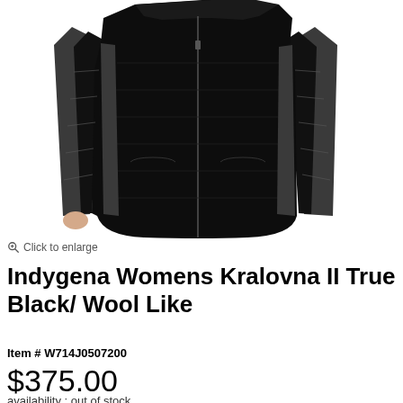[Figure (photo): A women's long black quilted down jacket (Indygena Kralovna II) shown from the front against a white background. The jacket features a center front zipper, quilted panels, dark charcoal accent panels on the sides and sleeves, and extends to mid-thigh length with a rounded hemline.]
Click to enlarge
Indygena Womens Kralovna II True Black/ Wool Like
Item # W714J0507200
$375.00
availability : out of stock